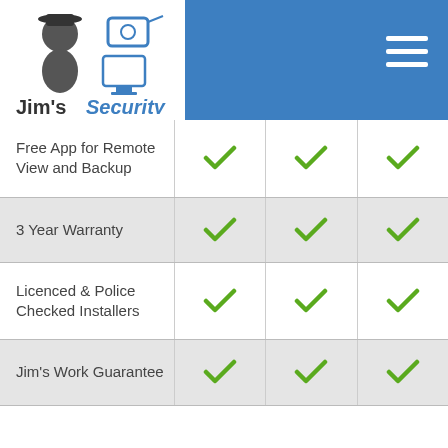Jim's Security
| Feature |  |  |  |
| --- | --- | --- | --- |
| Free App for Remote View and Backup | ✓ | ✓ | ✓ |
| 3 Year Warranty | ✓ | ✓ | ✓ |
| Licenced & Police Checked Installers | ✓ | ✓ | ✓ |
| Jim's Work Guarantee | ✓ | ✓ | ✓ |